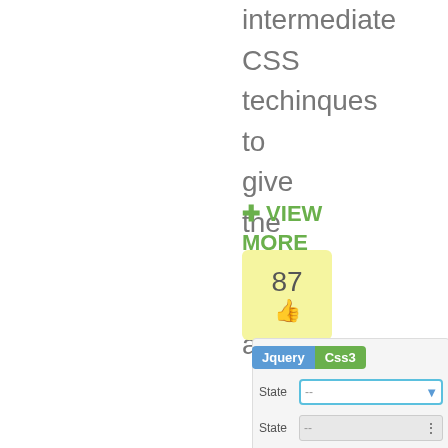intermediate CSS techinques to give the form the appearance...
+ VIEW MORE
[Figure (other): Like/thumbs-up box showing number 87 with a thumbs up icon, on a yellow background, with jQuery and Css3 tags overlaid]
[Figure (screenshot): A form panel showing four 'State' dropdown rows styled differently: one with CSS3 blue border and blue arrow, one native gray, one gray with triangle, one blue Windows IE style]